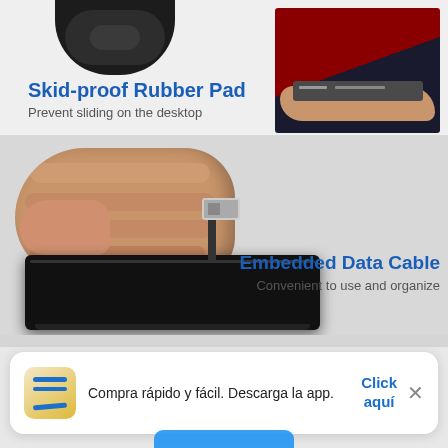[Figure (photo): Product feature infographic showing a portable external optical drive/hard drive. Top left: close-up of skid-proof rubber pad on bottom of device. Top right: a hand holding the slim device horizontally against a dark red and black background. Center-left: a hand gripping the device pulling out an embedded USB cable connector. Labels indicate 'Skid-proof Rubber Pad - Prevent sliding on the desktop' and 'Embedded Data Cable - Convenient to use and organize'.]
[Figure (screenshot): Amazon app promotional banner at bottom of screen: Amazon icon/logo on left, text 'Compra rápido y fácil. Descarga la app.' in center, 'Click aquí' button in blue on right, and an X close button.]